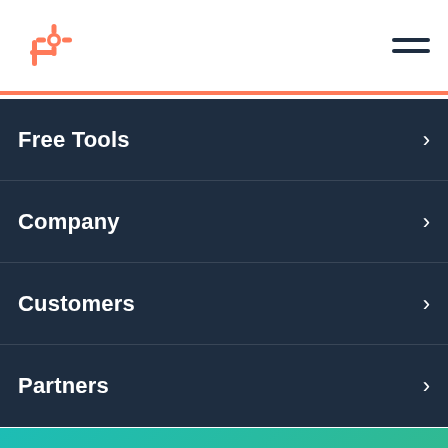HubSpot logo and hamburger menu
Free Tools
Company
Customers
Partners
Download 195+ visual marketing design templates to use for social media posts, infographics, and more.
Get it now